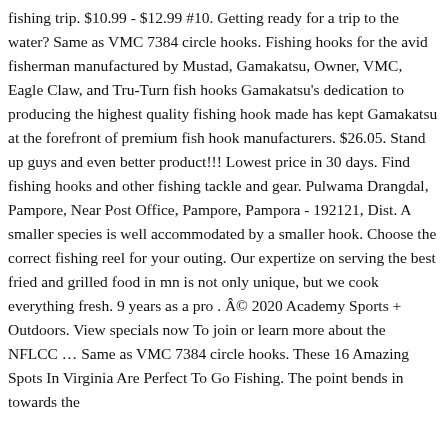fishing trip. $10.99 - $12.99 #10. Getting ready for a trip to the water? Same as VMC 7384 circle hooks. Fishing hooks for the avid fisherman manufactured by Mustad, Gamakatsu, Owner, VMC, Eagle Claw, and Tru-Turn fish hooks Gamakatsu's dedication to producing the highest quality fishing hook made has kept Gamakatsu at the forefront of premium fish hook manufacturers. $26.05. Stand up guys and even better product!!! Lowest price in 30 days. Find fishing hooks and other fishing tackle and gear. Pulwama Drangdal, Pampore, Near Post Office, Pampore, Pampora - 192121, Dist. A smaller species is well accommodated by a smaller hook. Choose the correct fishing reel for your outing. Our expertize on serving the best fried and grilled food in mn is not only unique, but we cook everything fresh. 9 years as a pro . Â© 2020 Academy Sports + Outdoors. View specials now To join or learn more about the NFLCC … Same as VMC 7384 circle hooks. These 16 Amazing Spots In Virginia Are Perfect To Go Fishing. The point bends in towards the